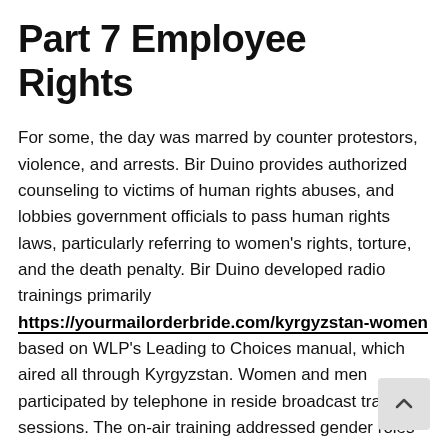Part 7 Employee Rights
For some, the day was marred by counter protestors, violence, and arrests. Bir Duino provides authorized counseling to victims of human rights abuses, and lobbies government officials to pass human rights laws, particularly referring to women's rights, torture, and the death penalty. Bir Duino developed radio trainings primarily https://yourmailorderbride.com/kyrgyzstan-women based on WLP's Leading to Choices manual, which aired all through Kyrgyzstan. Women and men participated by telephone in reside broadcast training sessions. The on-air training addressed gender roles in Kyrgyz society and the growth of ladies's equal participation in social interplay and determination-making.